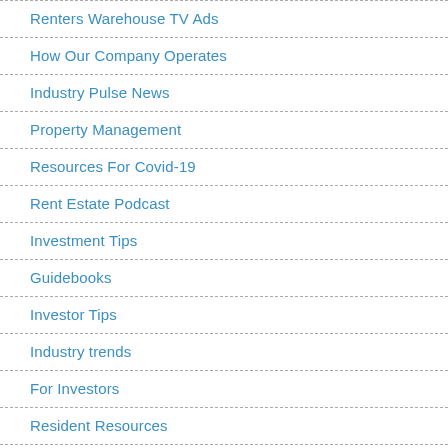Renters Warehouse TV Ads
How Our Company Operates
Industry Pulse News
Property Management
Resources For Covid-19
Rent Estate Podcast
Investment Tips
Guidebooks
Investor Tips
Industry trends
For Investors
Resident Resources